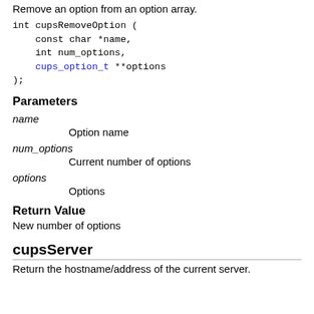Remove an option from an option array.
int cupsRemoveOption (
    const char *name,
    int num_options,
    cups_option_t **options
);
Parameters
name
Option name
num_options
Current number of options
options
Options
Return Value
New number of options
cupsServer
Return the hostname/address of the current server.